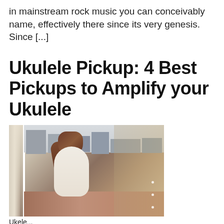in mainstream rock music you can conceivably name, effectively there since its very genesis. Since [...]
Ukulele Pickup: 4 Best Pickups to Amplify your Ukulele
[Figure (photo): A woman with long brown hair wearing a white dress sits by a window playing a ukulele, with a city view and warm light in the background.]
Ukele...